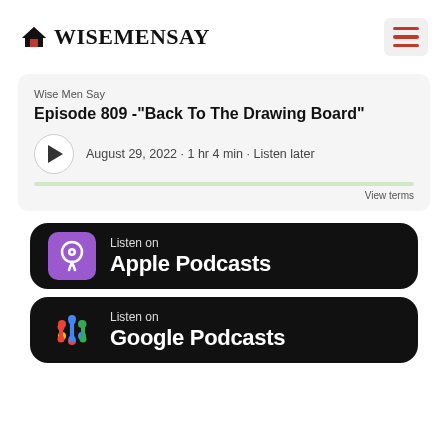[Figure (logo): WiseMenSay logo with house icon and hamburger menu]
[Figure (screenshot): Podcast player card showing Wise Men Say Episode 809 - Back To The Drawing Board, August 29 2022, 1 hr 4 min, Listen later]
[Figure (other): Listen on Apple Podcasts badge with purple podcast icon]
[Figure (other): Listen on Google Podcasts badge with colorful dots icon]